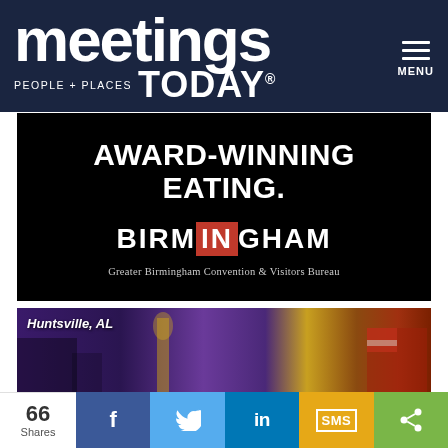meetings TODAY PEOPLE + PLACES | MENU
[Figure (infographic): Birmingham Greater Birmingham Convention & Visitors Bureau advertisement with text AWARD-WINNING EATING. on black background]
[Figure (photo): Huntsville, AL destination photo showing space artifacts and colorful cityscape]
66 Shares